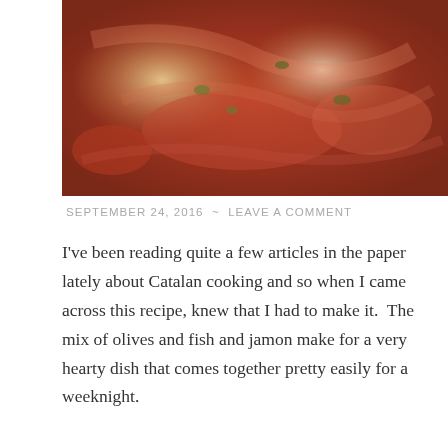[Figure (photo): Close-up photo of a food dish with tomatoes, olives, jamon (cured ham), and other ingredients]
SEPTEMBER 24, 2016  ~  LEAVE A COMMENT
I've been reading quite a few articles in the paper lately about Catalan cooking and so when I came across this recipe, knew that I had to make it.  The mix of olives and fish and jamon make for a very hearty dish that comes together pretty easily for a weeknight.
Advertisements
[Figure (screenshot): DuckDuckGo advertisement banner: Search, browse, and email with more privacy. All in One Free App. Shows a phone with the DuckDuckGo logo.]